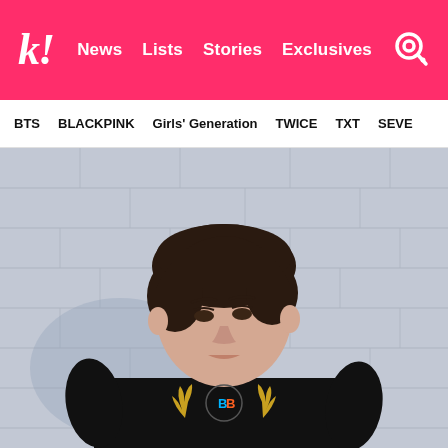k! News Lists Stories Exclusives
BTS BLACKPINK Girls' Generation TWICE TXT SEVE
[Figure (photo): Young male artist in a black sweatshirt with colorful BB crest logo, standing against a grey cinder block wall. He has short dark brown hair and is looking downward to his right.]